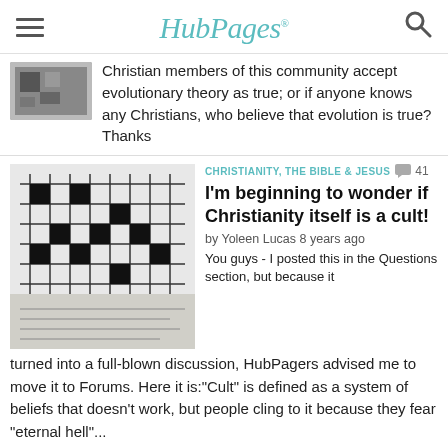HubPages
Christian members of this community accept evolutionary theory as true; or if anyone knows any Christians, who believe that evolution is true?Thanks
[Figure (photo): Black and white close-up photo of a crossword puzzle]
CHRISTIANITY, THE BIBLE & JESUS  41
I'm beginning to wonder if Christianity itself is a cult!
by Yoleen Lucas 8 years ago
You guys - I posted this in the Questions section, but because it turned into a full-blown discussion, HubPagers advised me to move it to Forums.  Here it is:"Cult" is defined as a system of beliefs that doesn't work, but people cling to it because they fear "eternal hell"...
[Figure (photo): Photo of golden grass or wheat against a blue sky]
RELIGION AND PHILOSOPHY  507
Why do Christians think everyone else is